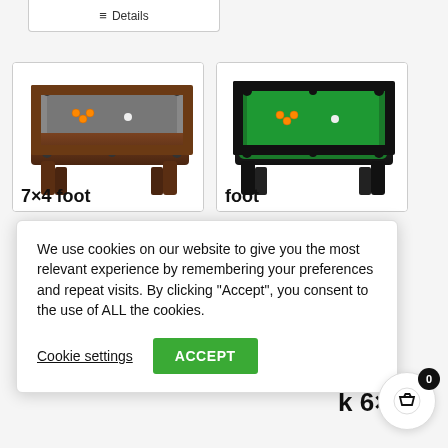Details
[Figure (photo): Brown/walnut pool table with grey felt and orange billiard balls]
[Figure (photo): Black pool table with green felt and orange billiard balls]
We use cookies on our website to give you the most relevant experience by remembering your preferences and repeat visits. By clicking "Accept", you consent to the use of ALL the cookies.
Cookie settings
ACCEPT
ega
Pool
les,
k 6×3
7×4 foot
foot